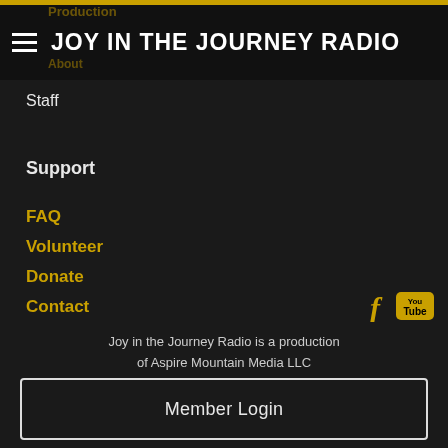JOY IN THE JOURNEY RADIO
Production
About
Staff
Support
FAQ
Volunteer
Donate
Contact
[Figure (logo): Facebook icon (f) and YouTube icon in gold]
Joy in the Journey Radio is a production of Aspire Mountain Media LLC
Member Login